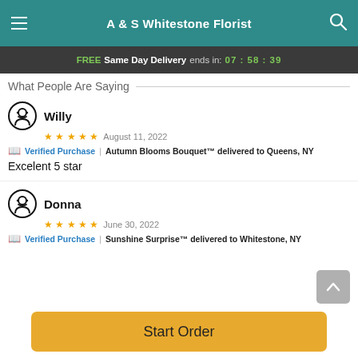A & S Whitestone Florist
FREE Same Day Delivery ends in: 07 : 58 : 39
What People Are Saying
Willy
★★★★★  August 11, 2022
🏷 Verified Purchase | Autumn Blooms Bouquet™ delivered to Queens, NY
Excelent 5 star
Donna
★★★★★  June 30, 2022
🏷 Verified Purchase | Sunshine Surprise™ delivered to Whitestone, NY
Start Order